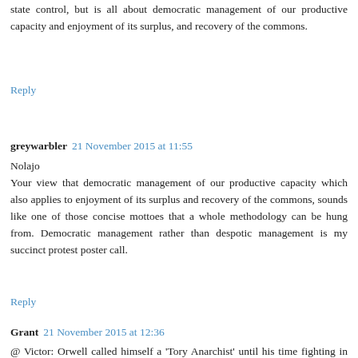state control, but is all about democratic management of our productive capacity and enjoyment of its surplus, and recovery of the commons.
Reply
greywarbler  21 November 2015 at 11:55
Nolajo
Your view that democratic management of our productive capacity which also applies to enjoyment of its surplus and recovery of the commons, sounds like one of those concise mottoes that a whole methodology can be hung from. Democratic management rather than despotic management is my succinct protest poster call.
Reply
Grant  21 November 2015 at 12:36
@ Victor: Orwell called himself a 'Tory Anarchist' until his time fighting in the Spanish Civil War. Here is a Part of the